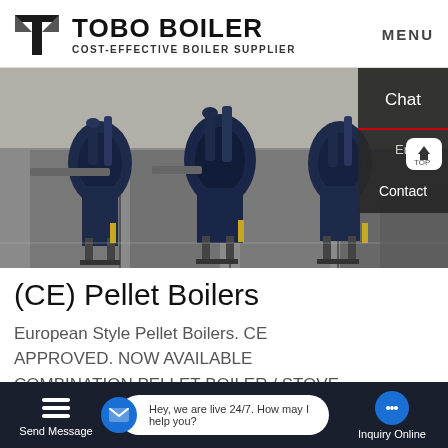TOBO BOILER — COST-EFFECTIVE BOILER SUPPLIER | MENU
[Figure (photo): Industrial pellet boilers installed in a clean facility with blue cylindrical units mounted on stands, connected by piping, against grey metal cabinet panels]
(CE) Pellet Boilers
European Style Pellet Boilers. CE APPROVED. NOW AVAILABLE COMBINATION PELLET BOILER / STOVE. HOT AIR + BOILER. Comes with built in Water Pump.
Send Message | Hey, we are live 24/7. How may I help you? | Inquiry Online